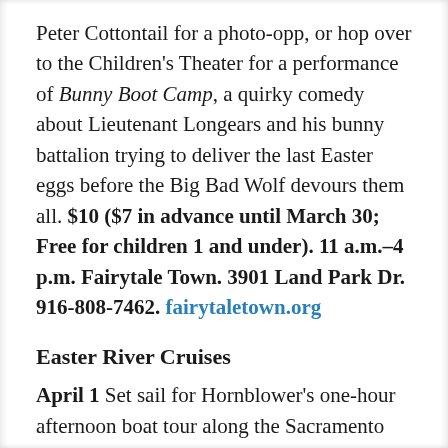Peter Cottontail for a photo-opp, or hop over to the Children's Theater for a performance of Bunny Boot Camp, a quirky comedy about Lieutenant Longears and his bunny battalion trying to deliver the last Easter eggs before the Big Bad Wolf devours them all. $10 ($7 in advance until March 30; Free for children 1 and under). 11 a.m.–4 p.m. Fairytale Town. 3901 Land Park Dr. 916-808-7462. fairytaletown.org
Easter River Cruises
April 1 Set sail for Hornblower's one-hour afternoon boat tour along the Sacramento River on Easter Sunday, during which cruisers can take in the beauty of the capital city. Along the